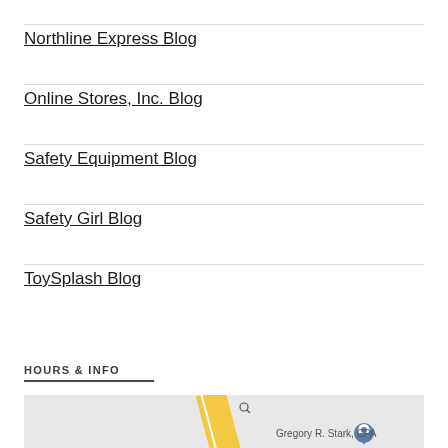Northline Express Blog
Online Stores, Inc. Blog
Safety Equipment Blog
Safety Girl Blog
ToySplash Blog
HOURS & INFO
[Figure (map): Google Maps embed showing location of Gregory R. Stark, CPA with a map pin marker]